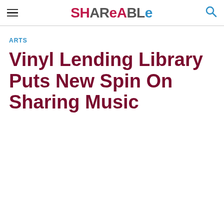SHAREABLE
ARTS
Vinyl Lending Library Puts New Spin On Sharing Music